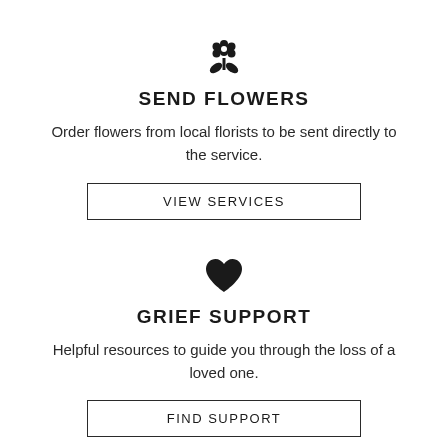[Figure (illustration): Flower icon — a simple black flower/daisy with leaves]
SEND FLOWERS
Order flowers from local florists to be sent directly to the service.
VIEW SERVICES
[Figure (illustration): Heart icon — solid black heart]
GRIEF SUPPORT
Helpful resources to guide you through the loss of a loved one.
FIND SUPPORT
[Figure (illustration): Pencil/pen icon — small black pencil]